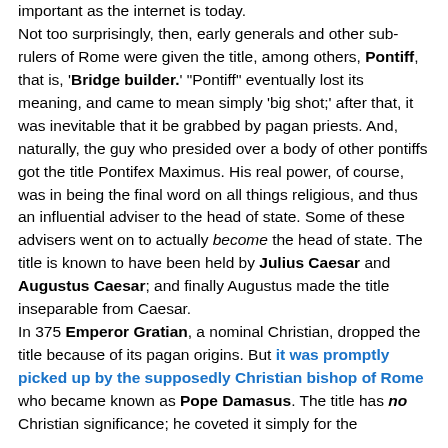important as the internet is today. Not too surprisingly, then, early generals and other sub-rulers of Rome were given the title, among others, Pontiff, that is, 'Bridge builder.' "Pontiff" eventually lost its meaning, and came to mean simply 'big shot;' after that, it was inevitable that it be grabbed by pagan priests. And, naturally, the guy who presided over a body of other pontiffs got the title Pontifex Maximus. His real power, of course, was in being the final word on all things religious, and thus an influential adviser to the head of state. Some of these advisers went on to actually become the head of state. The title is known to have been held by Julius Caesar and Augustus Caesar; and finally Augustus made the title inseparable from Caesar. In 375 Emperor Gratian, a nominal Christian, dropped the title because of its pagan origins. But it was promptly picked up by the supposedly Christian bishop of Rome who became known as Pope Damasus. The title has no Christian significance; he coveted it simply for the